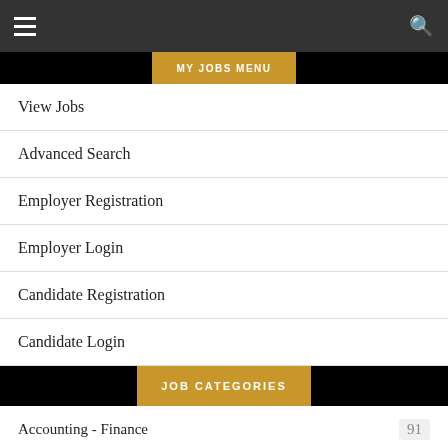Navigation bar with hamburger menu and search icon
[Figure (screenshot): MY JOBS MENU banner - black bar with gold center label partially visible at top]
View Jobs
Advanced Search
Employer Registration
Employer Login
Candidate Registration
Candidate Login
JOB CATEGORIES
Accounting - Finance  91
Admin - Clerical  61
Art - Media - Design  81